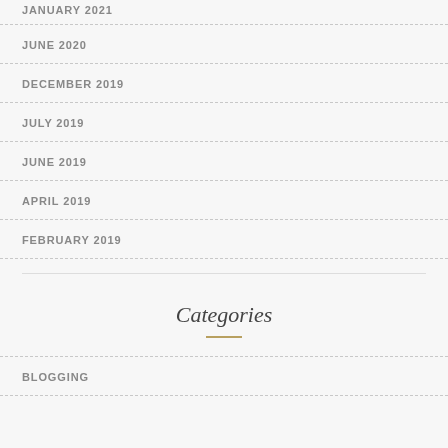JANUARY 2021
JUNE 2020
DECEMBER 2019
JULY 2019
JUNE 2019
APRIL 2019
FEBRUARY 2019
Categories
BLOGGING